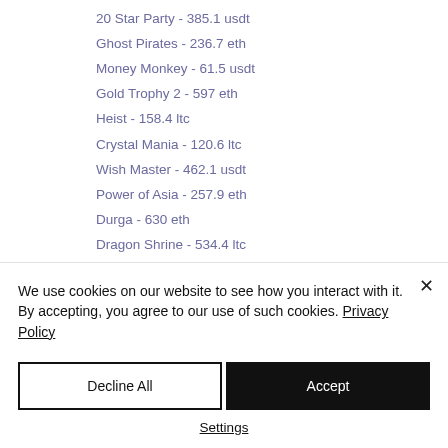20 Star Party - 385.1 usdt
Ghost Pirates - 236.7 eth
Money Monkey - 61.5 usdt
Gold Trophy 2 - 597 eth
Heist - 158.4 ltc
Crystal Mania - 120.6 ltc
Wish Master - 462.1 usdt
Power of Asia - 257.9 eth
Durga - 630 eth
Dragon Shrine - 534.4 ltc
Take 5 Golden Nights - 678.9 bch
Viva las Vegas - 606 btc
Prosperity Dragon - 172.2 usdt
We use cookies on our website to see how you interact with it. By accepting, you agree to our use of such cookies. Privacy Policy
Decline All
Accept
Settings